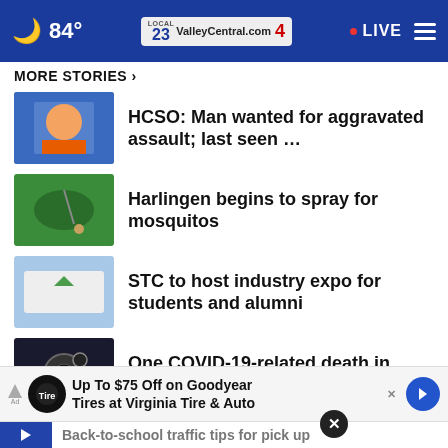84° ValleyCentral.com 23 4 LIVE
MORE STORIES ›
HCSO: Man wanted for aggravated assault; last seen …
Harlingen begins to spray for mosquitos
STC to host industry expo for students and alumni
One COVID-19-related death in Cameron County
Off-duty SAPD officer found w/ self-
Up To $75 Off on Goodyear Tires at Virginia Tire & Auto
Back-to-school traffic tips for pick up